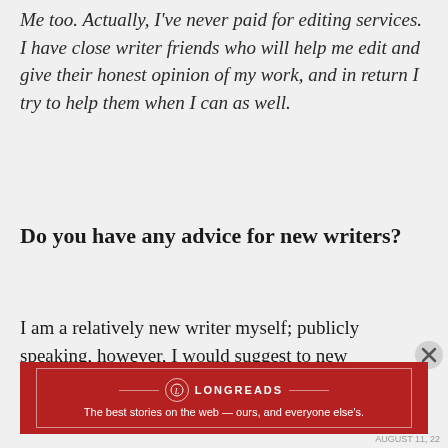Me too. Actually, I've never paid for editing services. I have close writer friends who will help me edit and give their honest opinion of my work, and in return I try to help them when I can as well.
Do you have any advice for new writers?
I am a relatively new writer myself; publicly speaking, however, I would suggest to new writers that they...
Advertisements
[Figure (other): Longreads advertisement banner: red background with white border, Longreads logo, text 'The best stories on the web — ours, and everyone else's.']